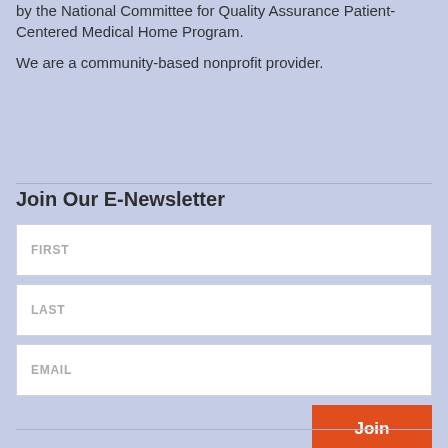by the National Committee for Quality Assurance Patient-Centered Medical Home Program.
We are a community-based nonprofit provider.
Join Our E-Newsletter
FIRST
LAST
EMAIL
Join